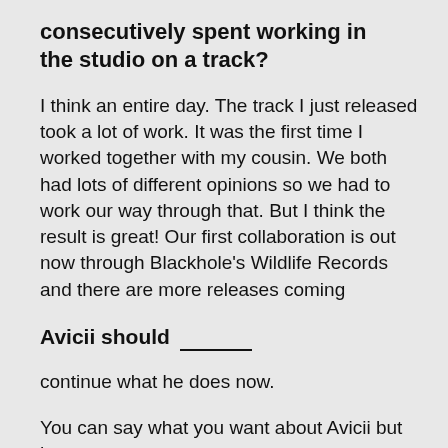consecutively spent working in the studio on a track?
I think an entire day. The track I just released took a lot of work. It was the first time I worked together with my cousin. We both had lots of different opinions so we had to work our way through that. But I think the result is great! Our first collaboration is out now through Blackhole's Wildlife Records and there are more releases coming
Avicii should ______
continue what he does now.
You can say what you want about Avicii but he sure